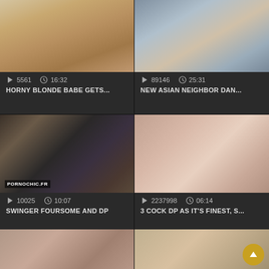[Figure (screenshot): Video thumbnail 1 - adult video grid layout top left]
5561  16:32
HORNY BLONDE BABE GETS...
[Figure (screenshot): Video thumbnail 2 - adult video grid layout top right]
89146  25:31
NEW ASIAN NEIGHBOR DAN...
[Figure (screenshot): Video thumbnail 3 with PORNOCHIC.FR watermark]
10025  10:07
SWINGER FOURSOME AND DP
[Figure (screenshot): Video thumbnail 4 - adult video grid layout middle right]
2237998  06:14
3 COCK DP AS IT'S FINEST, S...
[Figure (screenshot): Partial video thumbnail bottom left]
[Figure (screenshot): Partial video thumbnail bottom right with scroll-to-top button]